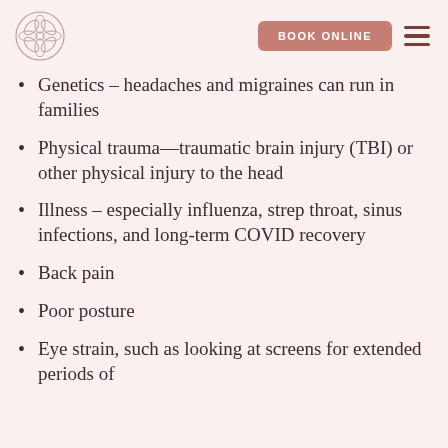BOOK ONLINE
Genetics – headaches and migraines can run in families
Physical trauma—traumatic brain injury (TBI) or other physical injury to the head
Illness – especially influenza, strep throat, sinus infections, and long-term COVID recovery
Back pain
Poor posture
Eye strain, such as looking at screens for extended periods of